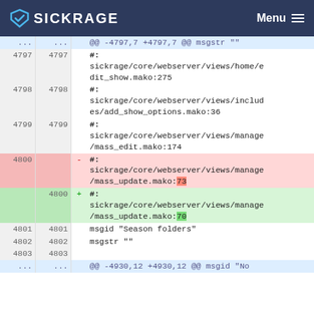SICKRAGE  Menu
| left-line | right-line | op | code |
| --- | --- | --- | --- |
| ... | ... |  | @@ -4797,7 +4797,7 @@ msgstr "" |
| 4797 | 4797 |  | #: sickrage/core/webserver/views/home/edit_show.mako:275 |
| 4798 | 4798 |  | #: sickrage/core/webserver/views/includes/add_show_options.mako:36 |
| 4799 | 4799 |  | #: sickrage/core/webserver/views/manage/mass_edit.mako:174 |
| 4800 |  | - | #: sickrage/core/webserver/views/manage/mass_update.mako:73 |
|  | 4800 | + | #: sickrage/core/webserver/views/manage/mass_update.mako:70 |
| 4801 | 4801 |  | msgid "Season folders" |
| 4802 | 4802 |  | msgstr "" |
| 4803 | 4803 |  |  |
| ... | ... |  | @@ -4930,12 +4930,12 @@ msgid "No |